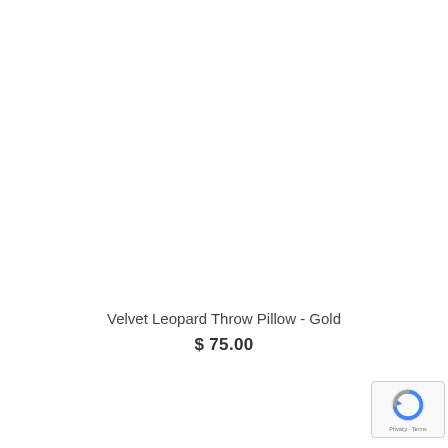Velvet Leopard Throw Pillow - Gold
$ 75.00
[Figure (logo): Google reCAPTCHA badge with circular arrow logo and Privacy · Terms text]